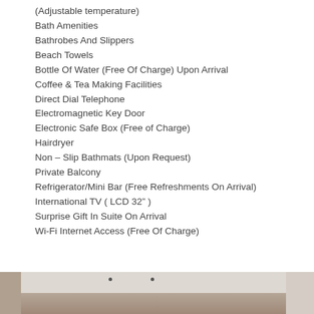(Adjustable temperature)
Bath Amenities
Bathrobes And Slippers
Beach Towels
Bottle Of Water (Free Of Charge) Upon Arrival
Coffee & Tea Making Facilities
Direct Dial Telephone
Electromagnetic Key Door
Electronic Safe Box (Free of Charge)
Hairdryer
Non – Slip Bathmats (Upon Request)
Private Balcony
Refrigerator/Mini Bar (Free Refreshments On Arrival)
International TV ( LCD 32" )
Surprise Gift In Suite On Arrival
Wi-Fi Internet Access (Free Of Charge)
[Figure (photo): Interior hotel room photo showing ceiling with lights and walls]